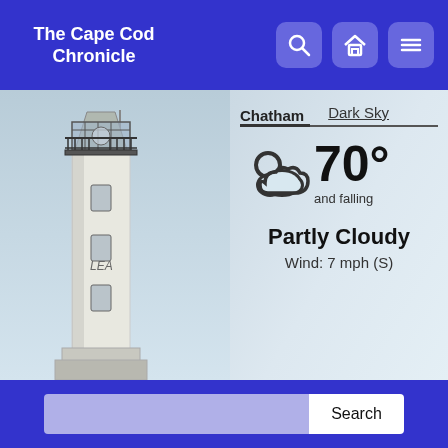The Cape Cod Chronicle
[Figure (screenshot): Weather widget showing partly cloudy 70 degrees and falling, Wind 7 mph (S), with a lighthouse photo on the left, tabs for Chatham and Dark Sky]
Chatham | Dark Sky | 70° and falling | Partly Cloudy | Wind: 7 mph (S)
Harwich News
Harwich Tornado Damage Estimated At $3.2 Million
July 31, 2019